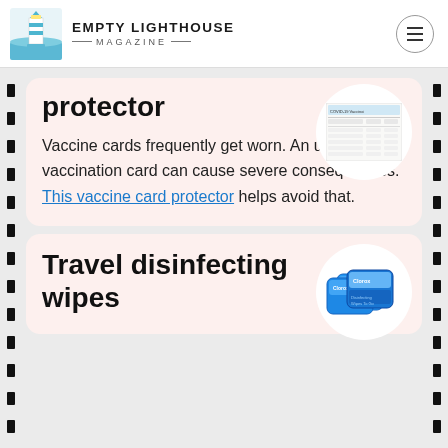EMPTY LIGHTHOUSE MAGAZINE
protector
Vaccine cards frequently get worn. An unreadable vaccination card can cause severe consequences. This vaccine card protector helps avoid that.
[Figure (photo): Circular white background showing a COVID-19 vaccination record card document]
Travel disinfecting wipes
[Figure (photo): Circular white background showing blue Clorox travel disinfecting wipes packages]